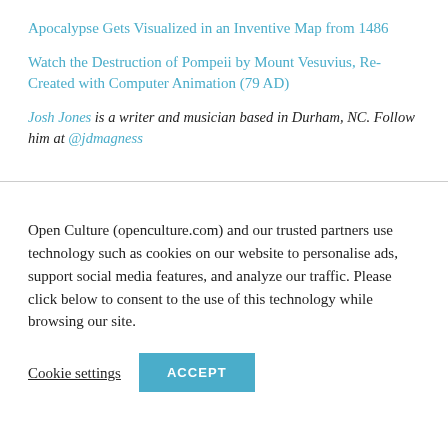Apocalypse Gets Visualized in an Inventive Map from 1486
Watch the Destruction of Pompeii by Mount Vesuvius, Re-Created with Computer Animation (79 AD)
Josh Jones is a writer and musician based in Durham, NC. Follow him at @jdmagness
Open Culture (openculture.com) and our trusted partners use technology such as cookies on our website to personalise ads, support social media features, and analyze our traffic. Please click below to consent to the use of this technology while browsing our site.